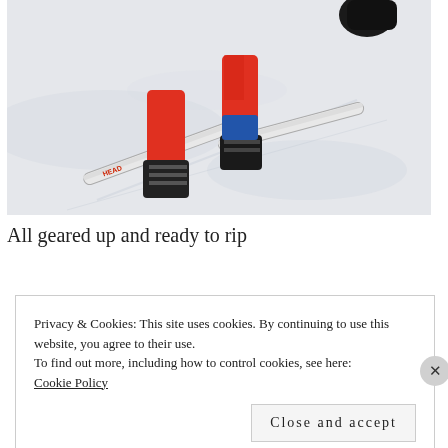[Figure (photo): A skier wearing red/orange ski gear and black boots on white snow, with two white skis visible. Only the lower body is shown from mid-torso down.]
All geared up and ready to rip
Privacy & Cookies: This site uses cookies. By continuing to use this website, you agree to their use.
To find out more, including how to control cookies, see here:
Cookie Policy
Close and accept